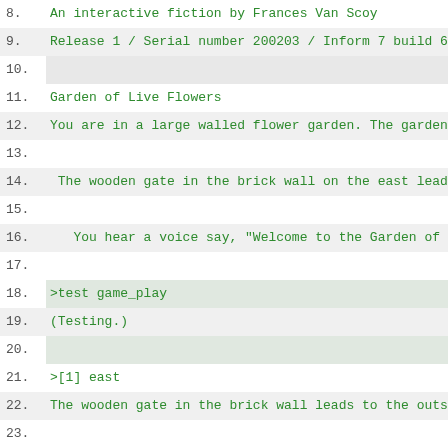8. An interactive fiction by Frances Van Scoy
9. Release 1 / Serial number 200203 / Inform 7 build 6M62 (I6/v6.3...
10.
11. Garden of Live Flowers
12. You are in a large walled flower garden. The garden has a circu...
13.
14. The wooden gate in the brick wall on the east leads to the out...
15.
16. You hear a voice say, "Welcome to the Garden of Live Flowers...
17.
18. >test game_play
19. (Testing.)
20.
21. >[1] east
22. The wooden gate in the brick wall leads to the outside world.
23.
24. >[2] who
25. "Who said that?" you ask.
26.
27. "I did. I am Guard Dog Wood. I live in the Garden of Live Flo...